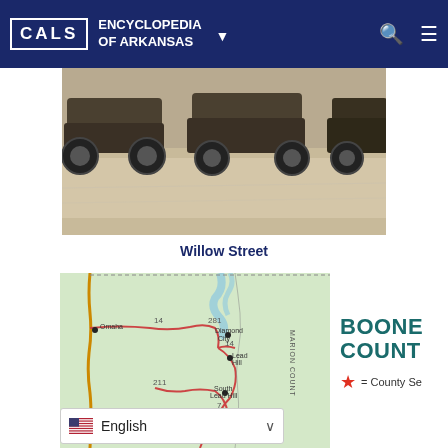CALS ENCYCLOPEDIA OF ARKANSAS
[Figure (photo): Black and white historical photograph showing vintage cars parked on Willow Street]
Willow Street
[Figure (map): Map of Boone County Arkansas showing roads, cities including Diamond City, Lead Hill, South Lead Hill, Bergman, Omaha, and Zoe, with Missouri border to the north and Marion County to the east. Routes 14, 281, 211, 7, 65 labeled.]
BOONE COUNTY
★ = County Seat
English